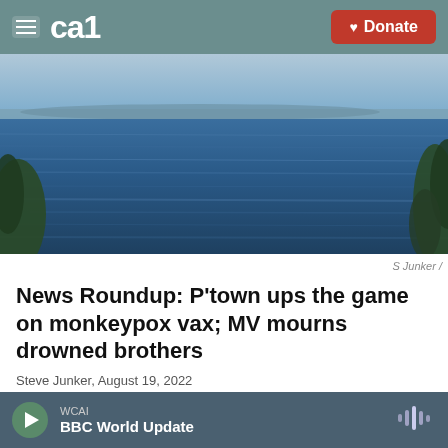CAI | Donate
[Figure (photo): Aerial or shoreline view of ocean water (Martha's Vineyard area) with trees visible at edges, calm blue water with gentle ripples]
S Junker /
News Roundup: P'town ups the game on monkeypox vax; MV mourns drowned brothers
Steve Junker,  August 19, 2022
This week: A tragic drowning on Martha's Vineyard claims the lives of two brothers. Also, the state announces a new protocol for monkeypox vaccines. And the steamship